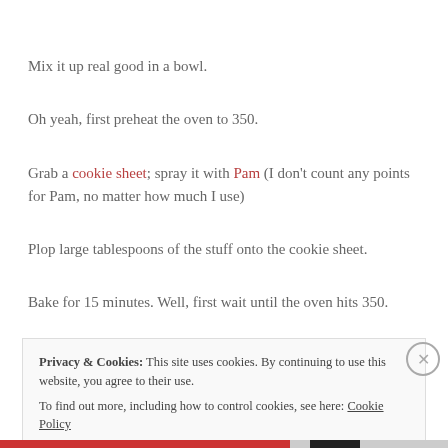Mix it up real good in a bowl.
Oh yeah, first preheat the oven to 350.
Grab a cookie sheet; spray it with Pam (I don't count any points for Pam, no matter how much I use)
Plop large tablespoons of the stuff onto the cookie sheet.
Bake for 15 minutes. Well, first wait until the oven hits 350.
Privacy & Cookies: This site uses cookies. By continuing to use this website, you agree to their use. To find out more, including how to control cookies, see here: Cookie Policy